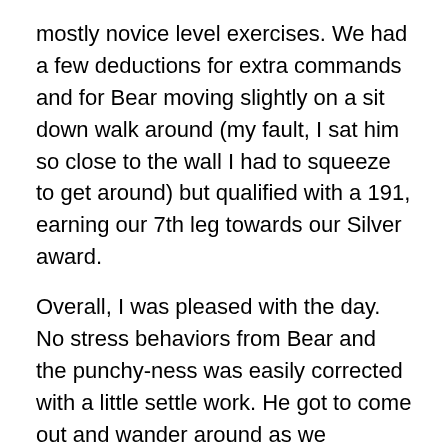mostly novice level exercises. We had a few deductions for extra commands and for Bear moving slightly on a sit down walk around (my fault, I sat him so close to the wall I had to squeeze to get around) but qualified with a 191, earning our 7th leg towards our Silver award.
Overall, I was pleased with the day. No stress behaviors from Bear and the punchy-ness was easily corrected with a little settle work. He got to come out and wander around as we vacuumed up before leaving and he literally tore around the building – energy to spare!
Sunday
On Sunday, we only had two runs in the morning.
We had entered Excellent Team and while we earned our title on Saturday, our partners still needed one leg for